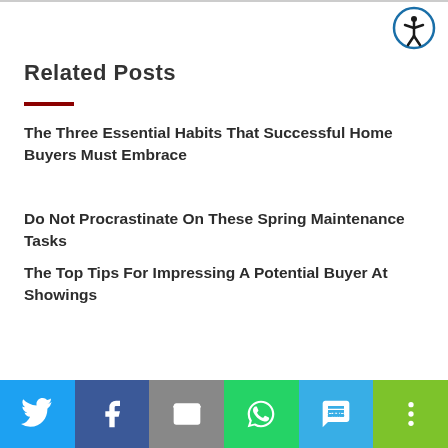Related Posts
The Three Essential Habits That Successful Home Buyers Must Embrace
Do Not Procrastinate On These Spring Maintenance Tasks
The Top Tips For Impressing A Potential Buyer At Showings